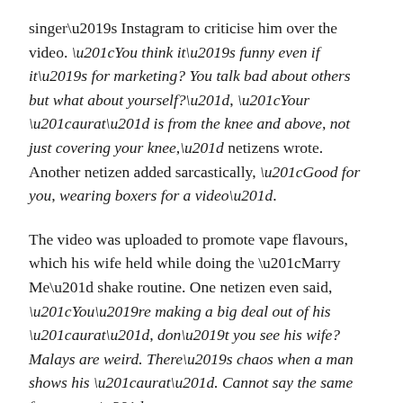singer’s Instagram to criticise him over the video. “You think it’s funny even if it’s for marketing? You talk bad about others but what about yourself?”, “Your “aurat” is from the knee and above, not just covering your knee,” netizens wrote. Another netizen added sarcastically, “Good for you, wearing boxers for a video”.
The video was uploaded to promote vape flavours, which his wife held while doing the “Marry Me” shake routine. One netizen even said, “You’re making a big deal out of his “aurat”, don’t you see his wife? Malays are weird. There’s chaos when a man shows his “aurat”. Cannot say the same for women.”